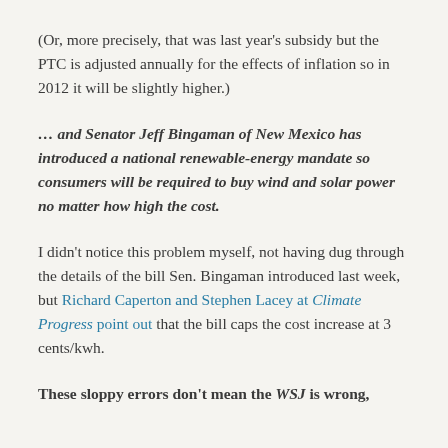(Or, more precisely, that was last year's subsidy but the PTC is adjusted annually for the effects of inflation so in 2012 it will be slightly higher.)
… and Senator Jeff Bingaman of New Mexico has introduced a national renewable-energy mandate so consumers will be required to buy wind and solar power no matter how high the cost.
I didn't notice this problem myself, not having dug through the details of the bill Sen. Bingaman introduced last week, but Richard Caperton and Stephen Lacey at Climate Progress point out that the bill caps the cost increase at 3 cents/kwh.
These sloppy errors don't mean the WSJ is wrong,